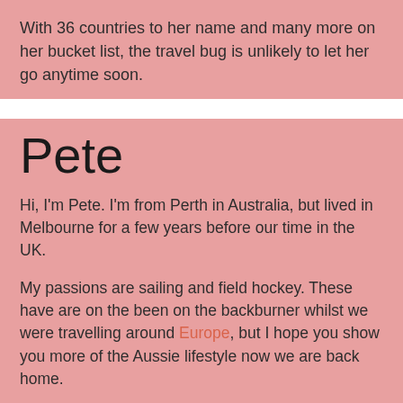With 36 countries to her name and many more on her bucket list, the travel bug is unlikely to let her go anytime soon.
Pete
Hi, I'm Pete. I'm from Perth in Australia, but lived in Melbourne for a few years before our time in the UK.
My passions are sailing and field hockey. These have are on the been on the backburner whilst we were travelling around Europe, but I hope you show you more of the Aussie lifestyle now we are back home.
My favourite trip to date as been visiting vineyards in Bordeaux as wine is another passion of mine. I've written a post all about it.